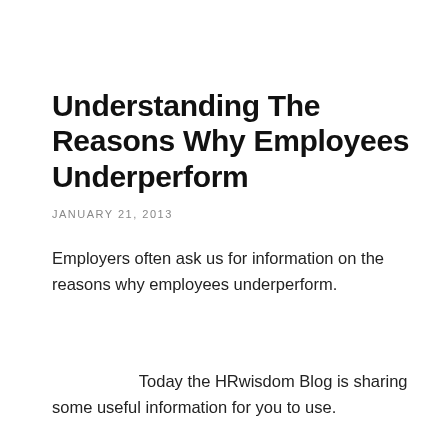Understanding The Reasons Why Employees Underperform
JANUARY 21, 2013
Employers often ask us for information on the reasons why employees underperform.
Today the HRwisdom Blog is sharing some useful information for you to use.
However, first we should remind you to always seek